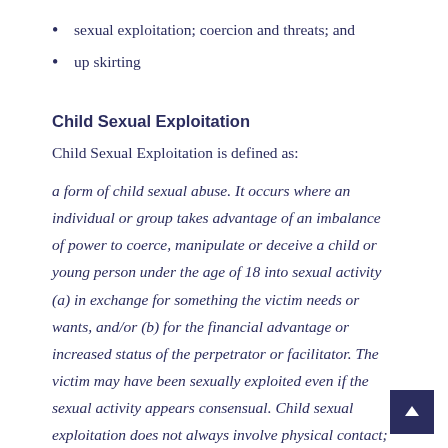sexual exploitation; coercion and threats; and
up skirting
Child Sexual Exploitation
Child Sexual Exploitation is defined as:
a form of child sexual abuse. It occurs where an individual or group takes advantage of an imbalance of power to coerce, manipulate or deceive a child or young person under the age of 18 into sexual activity (a) in exchange for something the victim needs or wants, and/or (b) for the financial advantage or increased status of the perpetrator or facilitator. The victim may have been sexually exploited even if the sexual activity appears consensual. Child sexual exploitation does not always involve physical contact;